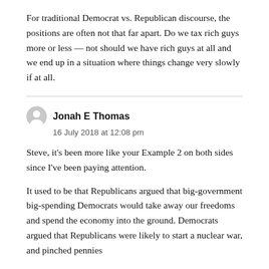For traditional Democrat vs. Republican discourse, the positions are often not that far apart. Do we tax rich guys more or less — not should we have rich guys at all and we end up in a situation where things change very slowly if at all.
Jonah E Thomas
16 July 2018 at 12:08 pm
Steve, it's been more like your Example 2 on both sides since I've been paying attention.
It used to be that Republicans argued that big-government big-spending Democrats would take away our freedoms and spend the economy into the ground. Democrats argued that Republicans were likely to start a nuclear war, and pinched pennies